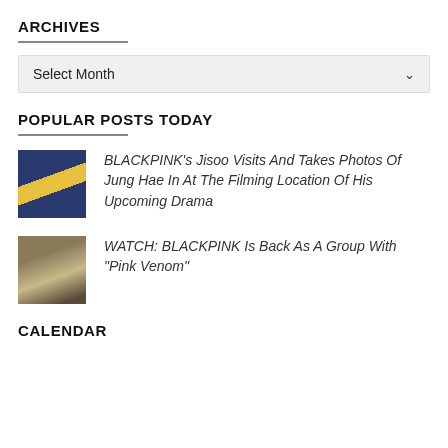ARCHIVES
Select Month
POPULAR POSTS TODAY
BLACKPINK's Jisoo Visits And Takes Photos Of Jung Hae In At The Filming Location Of His Upcoming Drama
WATCH: BLACKPINK Is Back As A Group With "Pink Venom"
CALENDAR